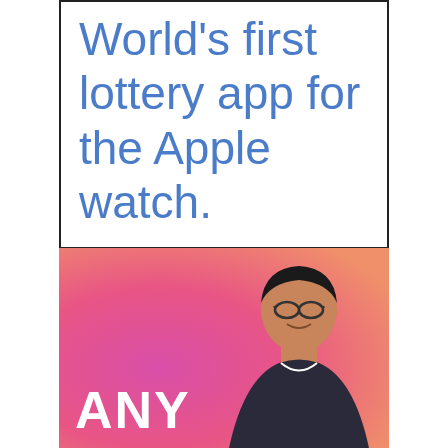[Figure (infographic): Advertisement with blue text on white background inside a black border box reading 'World's first lottery app for the Apple watch.']
[Figure (photo): Advertisement with pink/magenta gradient background showing a man with glasses smiling, and large white text 'ANY' at bottom left.]